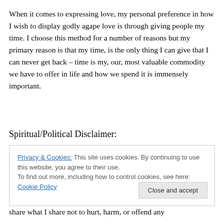When it comes to expressing love, my personal preference in how I wish to display godly agape love is through giving people my time. I choose this method for a number of reasons but my primary reason is that my time, is the only thing I can give that I can never get back – time is my, our, most valuable commodity we have to offer in life and how we spend it is immensely important.
Spiritual/Political Disclaimer:
Privacy & Cookies: This site uses cookies. By continuing to use this website, you agree to their use.
To find out more, including how to control cookies, see here: Cookie Policy
Close and accept
share what I share not to hurt, harm, or offend any